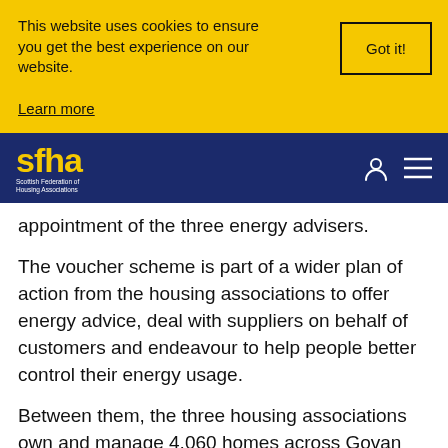This website uses cookies to ensure you get the best experience on our website. Learn more
Got it!
[Figure (logo): SFHA - Scottish Federation of Housing Associations logo in yellow on dark navy background]
appointment of the three energy advisers.
The voucher scheme is part of a wider plan of action from the housing associations to offer energy advice, deal with suppliers on behalf of customers and endeavour to help people better control their energy usage.
Between them, the three housing associations own and manage 4,060 homes across Govan and